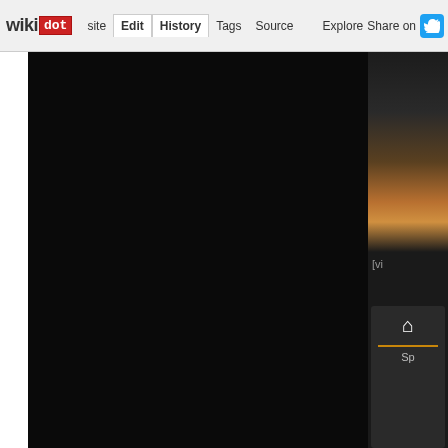wikidot | site | Edit | History | Tags | Source | Explore | Share on Twitter
[Figure (screenshot): Wikidot webpage screenshot showing a mostly black main content area with a right sidebar containing a landscape/sunset photo thumbnail, a link starting with '[vi', a home icon panel, a divider, and text starting with 'Sp']